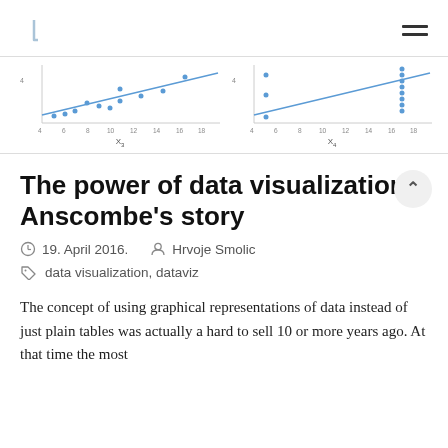[Figure (continuous-plot): Two scatter plots with regression lines showing Anscombe's quartet datasets X3 and X4. X-axis labeled X3 and X4 respectively with tick marks at 4, 6, 8, 10, 12, 14, 16, 18. Y-axis starts at 4. Blue data points with a diagonal regression line in each plot.]
The power of data visualization: Anscombe's story
19. April 2016.
Hrvoje Smolic
data visualization, dataviz
The concept of using graphical representations of data instead of just plain tables was actually a hard to sell 10 or more years ago. At that time the most